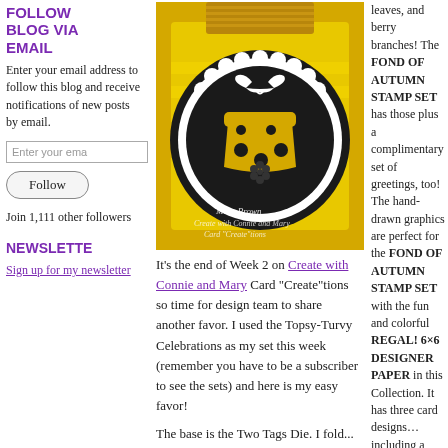FOLLOW BLOG VIA EMAIL
Enter your email address to follow this blog and receive notifications of new posts by email.
Enter your ema
Follow
Join 1,111 other followers
NEWSLETTE
Sign up for my newsletter
[Figure (photo): A handmade card favor on a yellow background. A circular black medallion with white scalloped edge features a yellow cake/present graphic with white dots and a black flower embellishment. Watermark text reads: Mary Brown, Create with Connie and Mary, Card Create-tions.]
It's the end of Week 2 on Create with Connie and Mary Card "Create"tions so time for design team to share another favor.  I used the Topsy-Turvy Celebrations as my set this week (remember you have to be a subscriber to see the sets) and here is my easy favor!
The base is the Two Tags Die.  I fold...
leaves, and berry branches! The FOND OF AUTUMN STAMP SET has those plus a complimentary set of greetings, too!  The hand-drawn graphics are perfect for the FOND OF AUTUMN STAMP SET with the fun and colorful REGAL! 6×6 DESIGNER PAPER in this Collection.  It has three card designs… including a unique fun fold...and a great